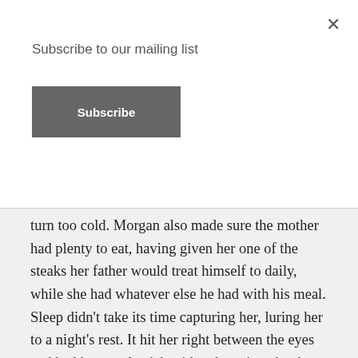Subscribe to our mailing list
Subscribe
turn too cold. Morgan also made sure the mother had plenty to eat, having given her one of the steaks her father would treat himself to daily, while she had whatever else he had with his meal. Sleep didn't take its time capturing her, luring her to a night's rest. It hit her right between the eyes and had her nearly sick with exhaustion. As she closed her eyes, sleeping in her own bed as if nothing had happened, she knew she'd keep her promises to not just Lincoln and the other staff but to herself as well. The animals here would need her, and she was going to make sure they were as safe as they could be while she was still living. ~*~ Four years later Morgan watched the